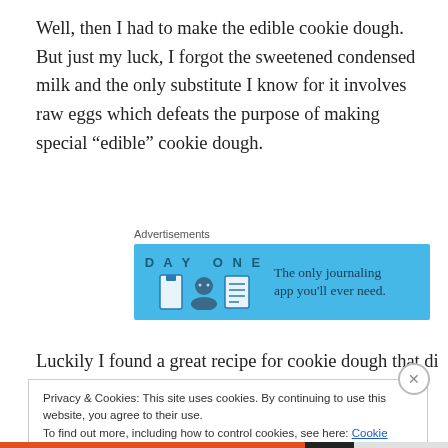Well, then I had to make the edible cookie dough. But just my luck, I forgot the sweetened condensed milk and the only substitute I know for it involves raw eggs which defeats the purpose of making special “edible” cookie dough.
Advertisements
[Figure (illustration): Day One journaling app advertisement banner with blue background. Shows 'DAY ONE' text with app icons (door, person, journal) and tagline 'The only journaling app you’ll ever need.']
Luckily I found a great recipe for cookie dough that didn’t
Privacy & Cookies: This site uses cookies. By continuing to use this website, you agree to their use.
To find out more, including how to control cookies, see here: Cookie Policy